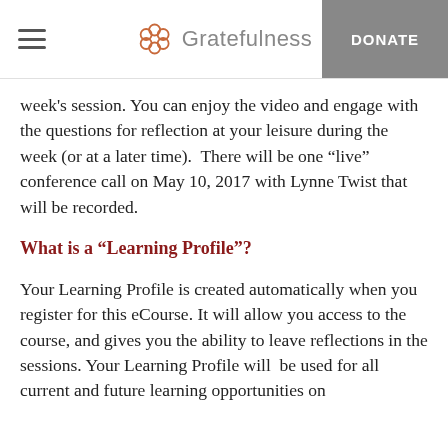Gratefulness | DONATE
week's session. You can enjoy the video and engage with the questions for reflection at your leisure during the week (or at a later time).  There will be one “live” conference call on May 10, 2017 with Lynne Twist that will be recorded.
What is a “Learning Profile”?
Your Learning Profile is created automatically when you register for this eCourse. It will allow you access to the course, and gives you the ability to leave reflections in the sessions. Your Learning Profile will be used for all current and future learning opportunities on